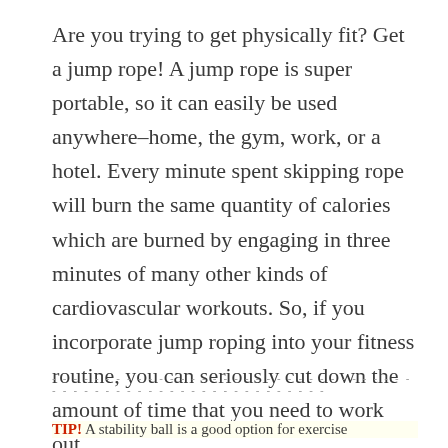Are you trying to get physically fit? Get a jump rope! A jump rope is super portable, so it can easily be used anywhere–home, the gym, work, or a hotel. Every minute spent skipping rope will burn the same quantity of calories which are burned by engaging in three minutes of many other kinds of cardiovascular workouts. So, if you incorporate jump roping into your fitness routine, you can seriously cut down the amount of time that you need to work out.
TIP! A stability ball is a good option for exercise...